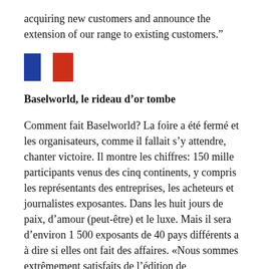acquiring new customers and announce the extension of our range to existing customers.”
[Figure (illustration): Two colored rectangles representing flags: a blue rectangle and a red rectangle side by side]
Baselworld, le rideau d’or tombe
Comment fait Baselworld? La foire a été fermé et les organisateurs, comme il fallait s’y attendre, chanter victoire. Il montre les chiffres: 150 mille participants venus des cinq continents, y compris les représentants des entreprises, les acheteurs et journalistes exposantes. Dans les huit jours de paix, d’amour (peut-être) et le luxe. Mais il sera d’environ 1 500 exposants de 40 pays différents a à dire si elles ont fait des affaires. «Nous sommes extrêmement satisfaits de l’édition de